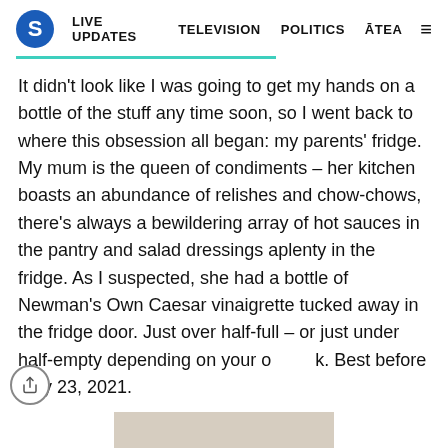S | LIVE UPDATES  TELEVISION  POLITICS  ĀTEA  ≡
It didn't look like I was going to get my hands on a bottle of the stuff any time soon, so I went back to where this obsession all began: my parents' fridge. My mum is the queen of condiments – her kitchen boasts an abundance of relishes and chow-chows, there's always a bewildering array of hot sauces in the pantry and salad dressings aplenty in the fridge. As I suspected, she had a bottle of Newman's Own Caesar vinaigrette tucked away in the fridge door. Just over half-full – or just under half-empty depending on your outlook. Best before May 23, 2021.
[Figure (photo): Bottom portion of a cream/beige colored refrigerator door visible at the bottom of the page]